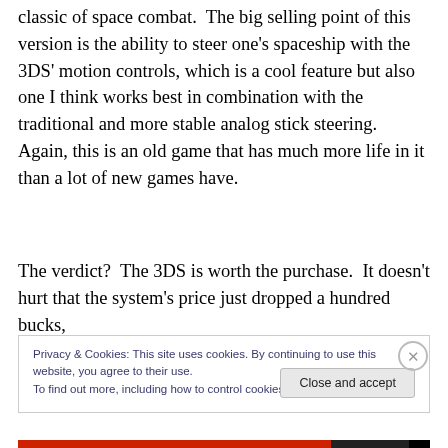classic of space combat.  The big selling point of this version is the ability to steer one's spaceship with the 3DS' motion controls, which is a cool feature but also one I think works best in combination with the traditional and more stable analog stick steering.  Again, this is an old game that has much more life in it than a lot of new games have.
The verdict?  The 3DS is worth the purchase.  It doesn't hurt that the system's price just dropped a hundred bucks,
Privacy & Cookies: This site uses cookies. By continuing to use this website, you agree to their use.
To find out more, including how to control cookies, see here: Cookie Policy
Close and accept